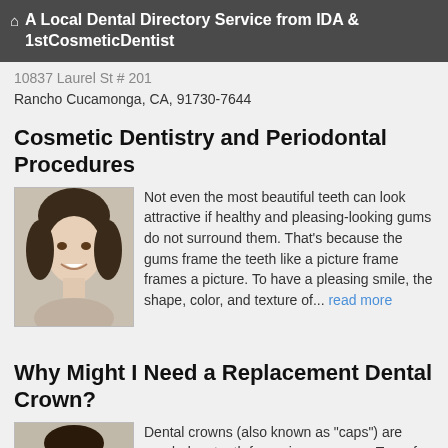A Local Dental Directory Service from IDA & 1stCosmeticDentist
10837 Laurel St # 201
Rancho Cucamonga, CA, 91730-7644
Cosmetic Dentistry and Periodontal Procedures
[Figure (photo): Portrait of a smiling woman with dark hair]
Not even the most beautiful teeth can look attractive if healthy and pleasing-looking gums do not surround them. That's because the gums frame the teeth like a picture frame frames a picture. To have a pleasing smile, the shape, color, and texture of... read more
Why Might I Need a Replacement Dental Crown?
[Figure (photo): Portrait of a smiling man]
Dental crowns (also known as "caps") are needed on teeth for various reasons. Two of the reasons crowns are needed is to restore broken and unaesthetic - ugly - teeth.